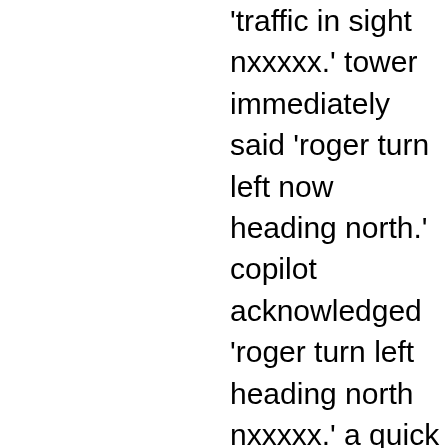'traffic in sight nxxxxx.' tower immediately said 'roger turn left now heading north.' copilot acknowledged 'roger turn left heading north nxxxxx.' a quick check of our TCASII by the copilot showed no traffic in the immediate area as I executed a climbing left turn to the north. As we were turning through a heading of 020 degrees a TCASII target appeared showing off our left side soon followed by a 'traffic, traffic' call. The B737 was approaching from behind the left wing. At this time I executed a climbing right turn to 1800 ft, as the B737 appeared to be descending and executing a turn to the right. B737 reported making evasive maneuver. The nearest vertical separation showed on TCASII was 300 ft below us and the B737 passed approximately 2000 ft behind our left wing noted by the copilot. This occurred 1 1/2 mi off the departure and off runway 9l...I believe 1